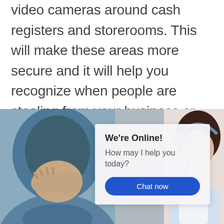video cameras around cash registers and storerooms. This will make these areas more secure and it will help you recognize when people are stealing from your business or making false entries into the system. It will [...]
[Figure (photo): A man in a blue hoodie covering his face with his hands on the left, and a woman wearing a headset on the right, with a live chat overlay box in the center showing 'We're Online! How may I help you today?' and a 'Chat now' button.]